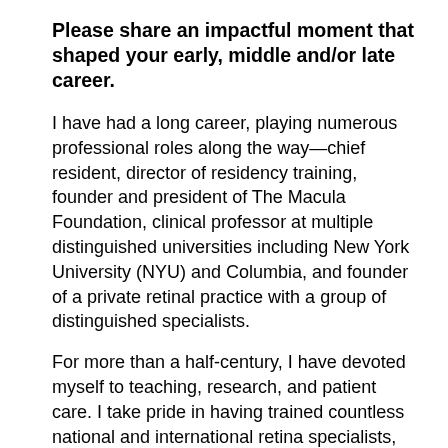Please share an impactful moment that shaped your early, middle and/or late career.
I have had a long career, playing numerous professional roles along the way—chief resident, director of residency training, founder and president of The Macula Foundation, clinical professor at multiple distinguished universities including New York University (NYU) and Columbia, and founder of a private retinal practice with a group of distinguished specialists.
For more than a half-century, I have devoted myself to teaching, research, and patient care. I take pride in having trained countless national and international retina specialists, many whom have become leaders in our field. Over this period, there have been several academic